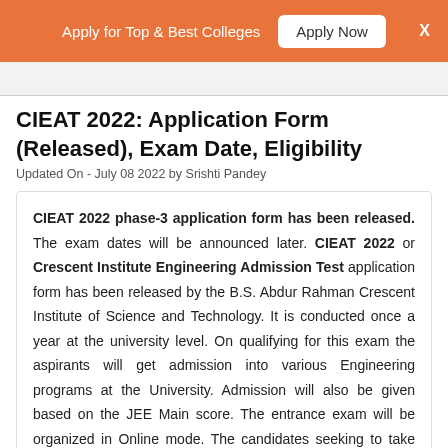Apply for Top & Best Colleges   Apply Now   X
CIEAT 2022: Application Form (Released), Exam Date, Eligibility
Updated On - July 08 2022 by Srishti Pandey
CIEAT 2022 phase-3 application form has been released. The exam dates will be announced later. CIEAT 2022 or Crescent Institute Engineering Admission Test application form has been released by the B.S. Abdur Rahman Crescent Institute of Science and Technology. It is conducted once a year at the university level. On qualifying for this exam the aspirants will get admission into various Engineering programs at the University. Admission will also be given based on the JEE Main score. The entrance exam will be organized in Online mode. The candidates seeking to take admission to the University can go through the complete article below to